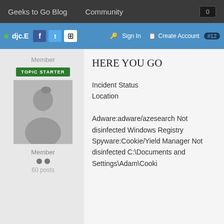Geeks to Go Blog   Community   0
djc.E  [social icons]  Sign In  Create Account  #12
Member
TOPIC STARTER
[Figure (photo): Default grey silhouette avatar placeholder image]
Member
60 posts
HERE YOU GO
Incident Status Location

Adware:adware/azesearch Not disinfected Windows Registry Spyware:Cookie/Yield Manager Not disinfected C:\Documents and Settings\Adam\Cooki